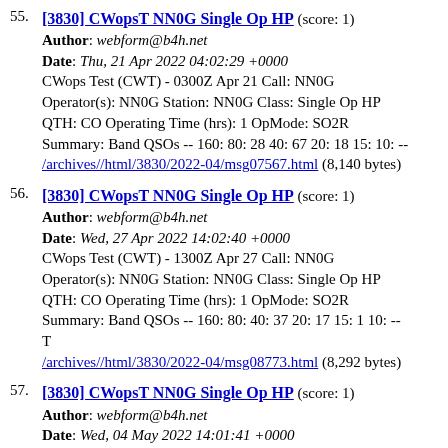55. [3830] CWopsT NN0G Single Op HP (score: 1)
Author: webform@b4h.net
Date: Thu, 21 Apr 2022 04:02:29 +0000
CWops Test (CWT) - 0300Z Apr 21 Call: NN0G Operator(s): NN0G Station: NN0G Class: Single Op HP QTH: CO Operating Time (hrs): 1 OpMode: SO2R Summary: Band QSOs -- 160: 80: 28 40: 67 20: 18 15: 10: --
/archives//html/3830/2022-04/msg07567.html (8,140 bytes)
56. [3830] CWopsT NN0G Single Op HP (score: 1)
Author: webform@b4h.net
Date: Wed, 27 Apr 2022 14:02:40 +0000
CWops Test (CWT) - 1300Z Apr 27 Call: NN0G Operator(s): NN0G Station: NN0G Class: Single Op HP QTH: CO Operating Time (hrs): 1 OpMode: SO2R Summary: Band QSOs -- 160: 80: 40: 37 20: 17 15: 1 10: -- T
/archives//html/3830/2022-04/msg08773.html (8,292 bytes)
57. [3830] CWopsT NN0G Single Op HP (score: 1)
Author: webform@b4h.net
Date: Wed, 04 May 2022 14:01:41 +0000
CWops Test (CWT) - 1300Z May 4 Call: NN0G Operator(s): NN0G Station: NN0G Class: Single Op HP QTH: CO Operating Time (hrs): 1 Summary: Band QSOs -- 160: 80: